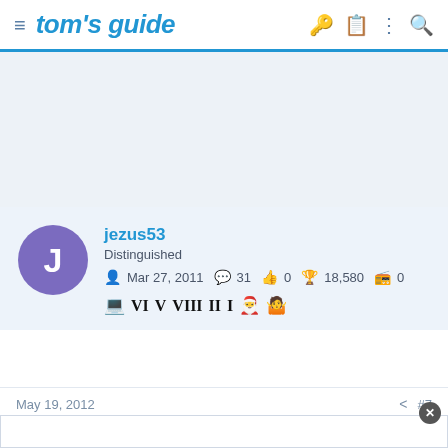tom's guide
[Figure (other): Advertisement placeholder area, light blue-gray background]
jezus53
Distinguished
Mar 27, 2011  31  0  18,580  0
May 19, 2012  #7
[Figure (other): Bottom advertisement area, white background with close button]